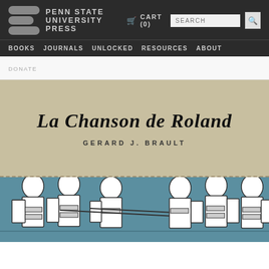PENN STATE UNIVERSITY PRESS — BOOKS | JOURNALS | UNLOCKED | RESOURCES | ABOUT — CART (0) — SEARCH
DONATE
[Figure (illustration): Book cover for 'La Chanson de Roland' by Gerard J. Brault, published by Penn State University Press. The cover has a tan/beige upper section with the title in gothic blackletter font and the author name in spaced uppercase. A dashed line separates the upper section from a teal/blue lower section featuring a medieval illustration of armored soldiers with helmets and shields facing each other.]